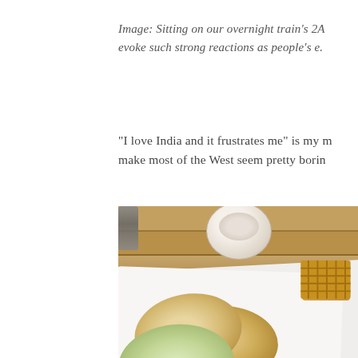Image: Sitting on our overnight train's 2A evoke such strong reactions as people's e.
“I love India and it frustrates me” is my m make most of the West seem pretty borin
[Figure (photo): A close-up overhead photo of Indian flatbreads (rotis/chapatis) including a green-tinted one in the foreground, arranged on a white cloth with a woven basket visible on the right, a ceramic bowl and bottle in the upper portion, all set on a wooden surface.]